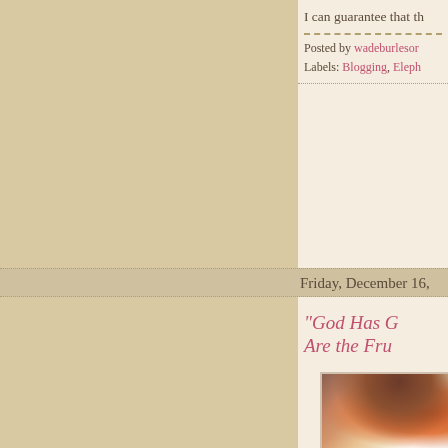I can guarantee that th...
Posted by wadeburlesor...
Labels: Blogging, Eleph...
Friday, December 16,
"God Has G... Are the Fru...
[Figure (photo): Woman with reddish-brown hair, eyes closed, smiling, wearing white top]